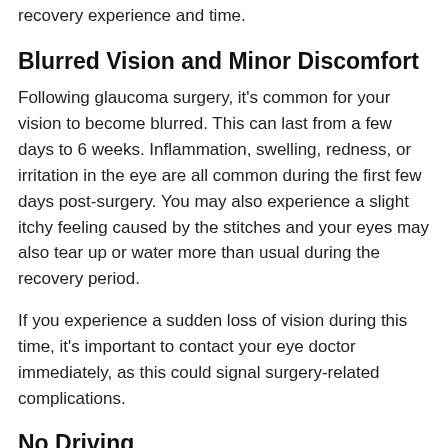recovery experience and time.
Blurred Vision and Minor Discomfort
Following glaucoma surgery, it's common for your vision to become blurred. This can last from a few days to 6 weeks. Inflammation, swelling, redness, or irritation in the eye are all common during the first few days post-surgery. You may also experience a slight itchy feeling caused by the stitches and your eyes may also tear up or water more than usual during the recovery period.
If you experience a sudden loss of vision during this time, it's important to contact your eye doctor immediately, as this could signal surgery-related complications.
No Driving
Driving is not recommended while recovering from glaucoma surgery, particularly right after the surgery. Make sure you have someone to drive you home after